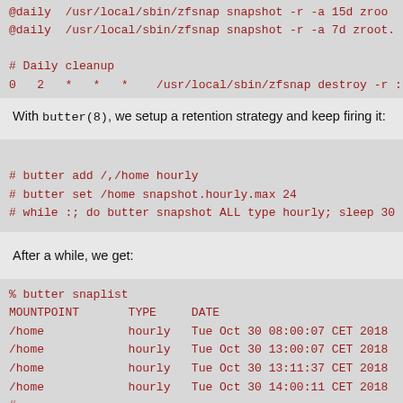@daily  /usr/local/sbin/zfsnap snapshot -r -a 15d zroo
@daily  /usr/local/sbin/zfsnap snapshot -r -a 7d zroot.

# Daily cleanup
0   2   *   *   *    /usr/local/sbin/zfsnap destroy -r :
With butter(8), we setup a retention strategy and keep firing it:
# butter add /,/home hourly
# butter set /home snapshot.hourly.max 24
# while :; do butter snapshot ALL type hourly; sleep 30
After a while, we get:
% butter snaplist
MOUNTPOINT       TYPE     DATE
/home            hourly   Tue Oct 30 08:00:07 CET 2018
/home            hourly   Tue Oct 30 13:00:07 CET 2018
/home            hourly   Tue Oct 30 13:11:37 CET 2018
/home            hourly   Tue Oct 30 14:00:11 CET 2018
#...